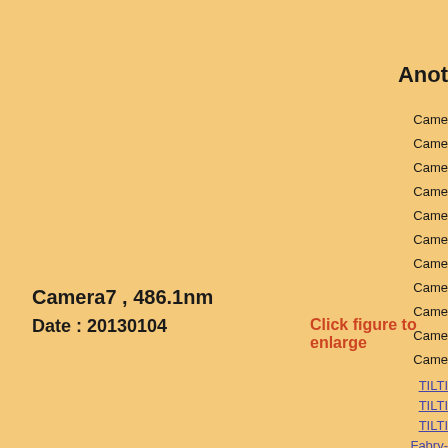Anot
Came
Came
Came
Came
Came
Came
Came
Came
Came
Came
Came
TILTI
TILTI
TILTI
Fabry-
FPI02
FPI02
FPI03
FPI03
Airglo
Camera7 , 486.1nm
Date : 20130104
Click figure to enlarge